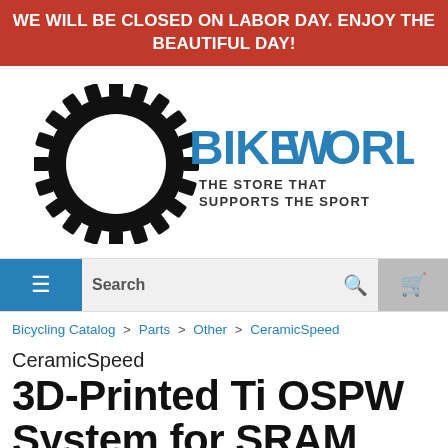WE WILL BE CLOSED ON LABOR DAY. ENJOY THE BEAUTIFUL DAY!
[Figure (logo): Bike World logo: a black gear/sprocket with blue BIKEWORLD text and tagline THE STORE THAT SUPPORTS THE SPORT]
[Figure (screenshot): Navigation bar with hamburger menu button (blue), Search field, search icon, and cart icon (grey)]
Bicycling Catalog > Parts > Other > CeramicSpeed
CeramicSpeed
3D-Printed Ti OSPW System for SRAM